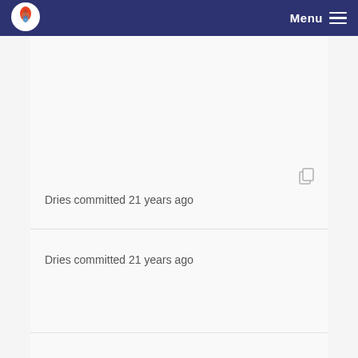Menu
Dries committed 21 years ago
Dries committed 21 years ago